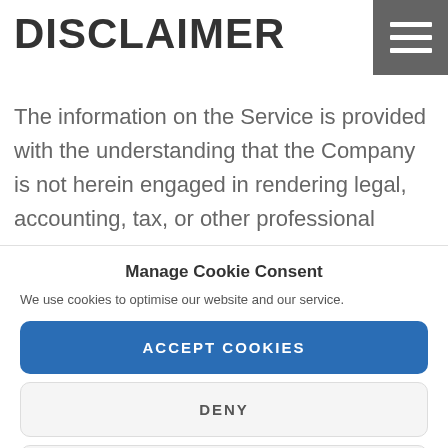DISCLAIMER
The information on the Service is provided with the understanding that the Company is not herein engaged in rendering legal, accounting, tax, or other professional
Manage Cookie Consent
We use cookies to optimise our website and our service.
ACCEPT COOKIES
DENY
VIEW PREFERENCES